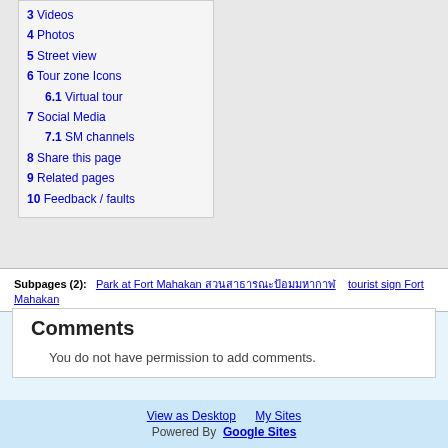3 Videos
4 Photos
5 Street view
6 Tour zone Icons
6.1 Virtual tour
7 Social Media
7.1 SM channels
8 Share this page
9 Related pages
10 Feedback / faults
Subpages (2):   Park at Fort Mahakan สวนสาธารณะป้อมมหากาฬ   tourist sign Fort Mahakan
Comments
You do not have permission to add comments.
View as Desktop   My Sites   Powered By  Google Sites